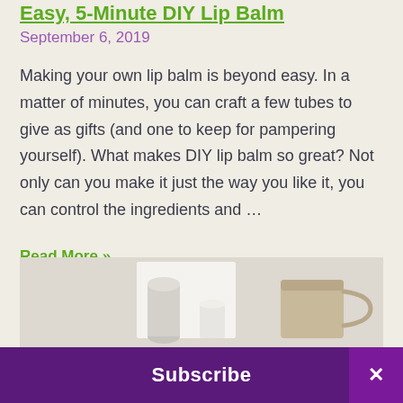Easy, 5-Minute DIY Lip Balm
September 6, 2019
Making your own lip balm is beyond easy. In a matter of minutes, you can craft a few tubes to give as gifts (and one to keep for pampering yourself). What makes DIY lip balm so great? Not only can you make it just the way you like it, you can control the ingredients and …
Read More »
[Figure (photo): Photo of lip balm tubes and a mug/container on a light background]
Subscribe
×